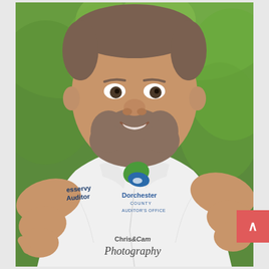[Figure (photo): Photograph of a man wearing a white polo shirt with 'Dorchester County Auditor's Office' logo and embroidered text reading 'Kesservy Auditor' on the sleeve, pointing both index fingers toward the camera with a smile, green foliage background. Watermark in bottom right reads 'Chris &Cam Photography' in script font.]